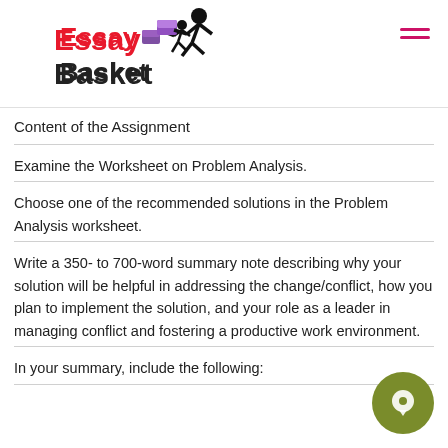[Figure (logo): EssayBasket logo with red 'Essay' text, black 'Basket' text, and a running figure holding a purple box]
Content of the Assignment
Examine the Worksheet on Problem Analysis.
Choose one of the recommended solutions in the Problem Analysis worksheet.
Write a 350- to 700-word summary note describing why your solution will be helpful in addressing the change/conflict, how you plan to implement the solution, and your role as a leader in managing conflict and fostering a productive work environment.
In your summary, include the following: